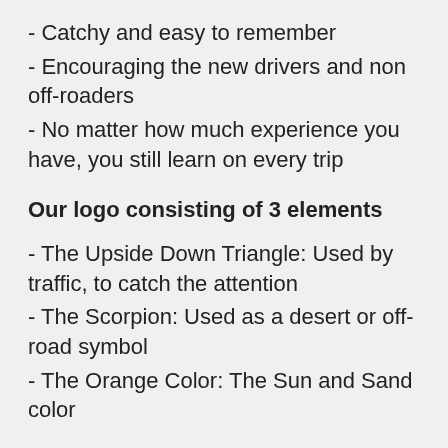- Catchy and easy to remember
- Encouraging the new drivers and non off-roaders
- No matter how much experience you have, you still learn on every trip
Our logo consisting of 3 elements
- The Upside Down Triangle: Used by traffic, to catch the attention
- The Scorpion: Used as a desert or off-road symbol
- The Orange Color: The Sun and Sand color
Our Values :